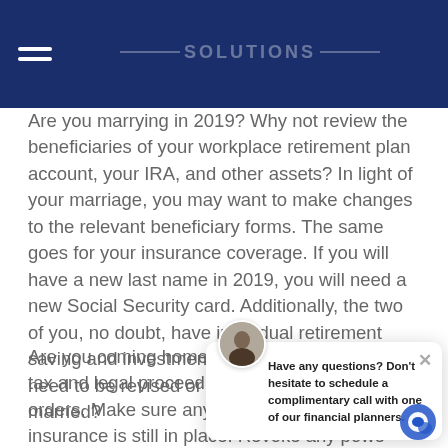BLUE OCEAN SOLUTIONS
Are you marrying in 2019? Why not review the beneficiaries of your workplace retirement plan account, your IRA, and other assets? In light of your marriage, you may want to make changes to the relevant beneficiary forms. The same goes for your insurance coverage. If you will have a new last name in 2019, you will need a new Social Security card. Additionally, the two of you, no doubt, have individual retirement saving and investment strategies. Will they need to be revised or adjusted once you are married?
Are you coming home and check the status of tax and legal proceed preempted by your orders. Make sure any employee health insurance is still in place. Revoke any power of attorney you may have granted to another person.